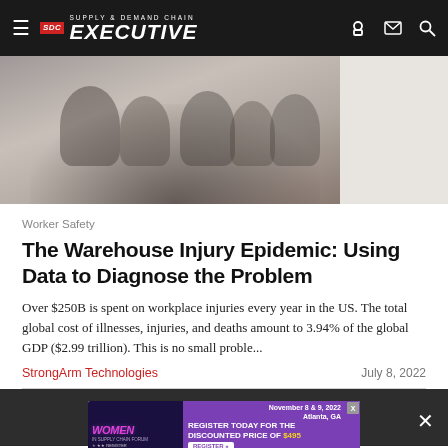SDC Supply & Demand Chain Executive
[Figure (photo): Hero image showing workers in a warehouse or outdoor setting, partially visible crowd of people]
Worker Safety
The Warehouse Injury Epidemic: Using Data to Diagnose the Problem
Over $250B is spent on workplace injuries every year in the US. The total global cost of illnesses, injuries, and deaths amount to 3.94% of the global GDP ($2.99 trillion). This is no small proble...
StrongArm Technologies    July 8, 2022
[Figure (other): Advertisement banner for Women in Supply Chain Forum, November 8 & 9, 2022, Atlanta, GA. Register Today for the Discounted Price of $495.]